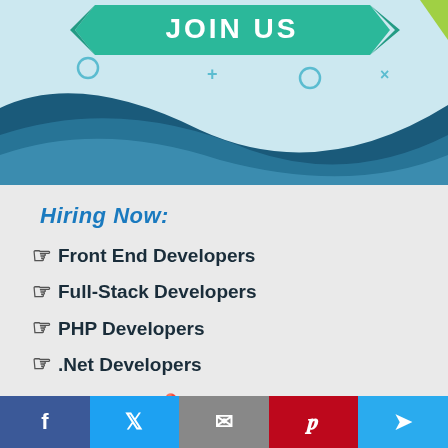[Figure (illustration): Join Us banner with teal/green ribbon text and geometric blue wave shapes on light blue background with decorative symbols (circles, plus, x)]
Hiring Now:
Front End Developers
Full-Stack Developers
PHP Developers
.Net Developers
Shimla, H.P
APPLY NOW
[Figure (infographic): Social sharing bar with Facebook, Twitter, Email, Pinterest, and Telegram icons]